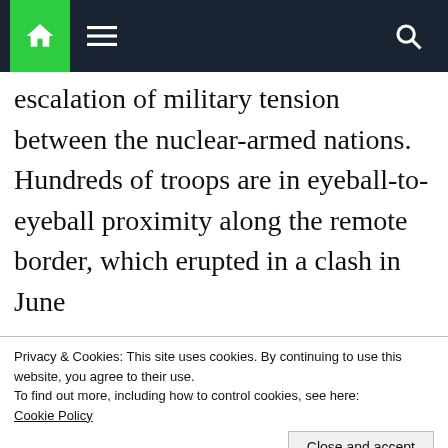Navigation bar with home, menu, and search icons
escalation of military tension between the nuclear-armed nations. Hundreds of troops are in eyeball-to-eyeball proximity along the remote border, which erupted in a clash in June
Advertisements
[Figure (screenshot): Advertisement banner with beige background showing text 'Professionally designed sites in less']
Privacy & Cookies: This site uses cookies. By continuing to use this website, you agree to their use.
To find out more, including how to control cookies, see here:
Cookie Policy
Close and accept